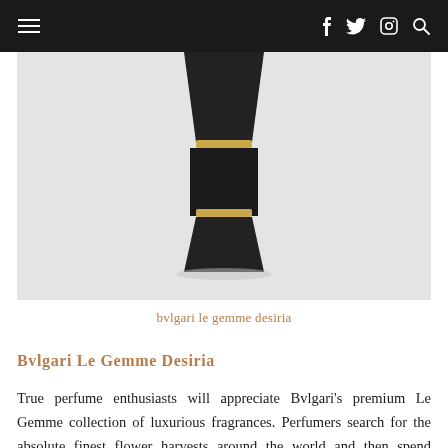Navigation bar with hamburger menu and social icons (facebook, twitter, instagram, search)
[Figure (photo): Close-up of a Bvlgari Le Gemme Desiria perfume bottle, matte black with gold trim rings, on a light grey background]
bvlgari le gemme desiria
Bvlgari Le Gemme Desiria
True perfume enthusiasts will appreciate Bvlgari's premium Le Gemme collection of luxurious fragrances. Perfumers search for the absolute finest flower harvests around the world and then spend months carefully